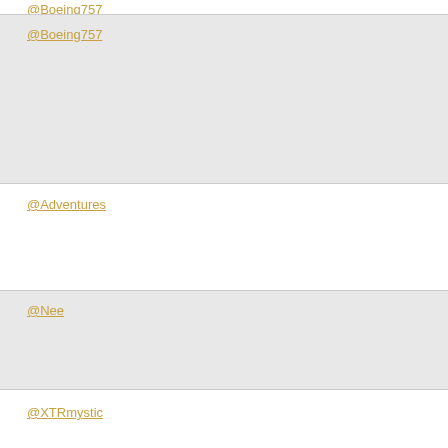@Boeing757
@Adventures
@Nee
@XTRmystic